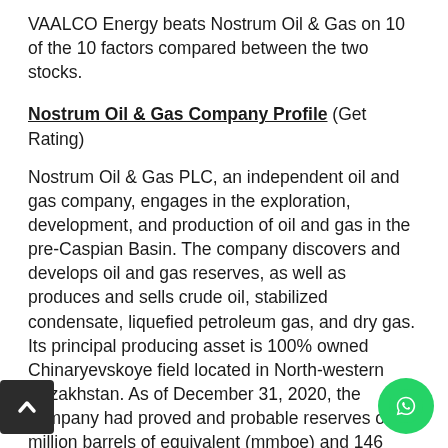VAALCO Energy beats Nostrum Oil & Gas on 10 of the 10 factors compared between the two stocks.
Nostrum Oil & Gas Company Profile (Get Rating)
Nostrum Oil & Gas PLC, an independent oil and gas company, engages in the exploration, development, and production of oil and gas in the pre-Caspian Basin. The company discovers and develops oil and gas reserves, as well as produces and sells crude oil, stabilized condensate, liquefied petroleum gas, and dry gas. Its principal producing asset is 100% owned Chinaryevskoye field located in North-western Kazakhstan. As of December 31, 2020, the company had proved and probable reserves of 39 million barrels of equivalent (mmboe) and 146 mmboe of